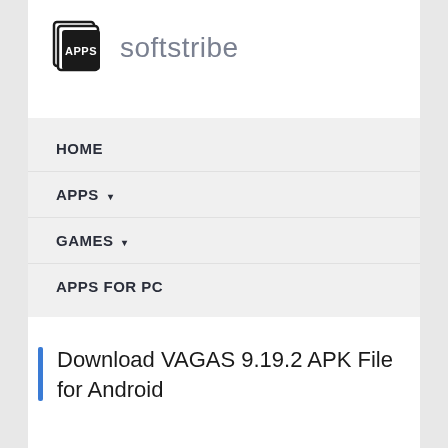[Figure (logo): Softstribe logo: stacked pages icon with 'APPS' text and 'softstribe' wordmark]
HOME
APPS ▾
GAMES ▾
APPS FOR PC
Download VAGAS 9.19.2 APK File for Android